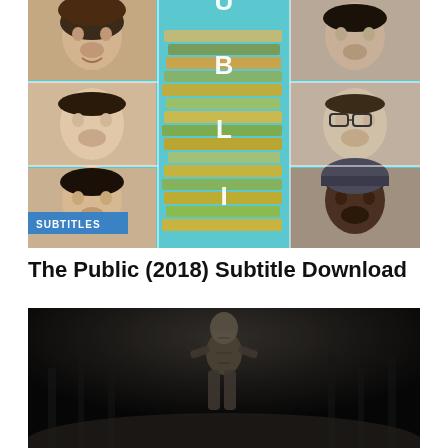[Figure (photo): Movie poster for 'The Public' (2018) showing a collage of actor portraits around a stack of books spelling out 'PUBLIC' with a teal/cyan background. A 'SUBTITLES' badge is visible in the lower left of the poster.]
The Public (2018) Subtitle Download
[Figure (photo): Dark atmospheric movie poster or promotional image showing a lone figure/silhouette against a dark, moody background with trees or mist.]